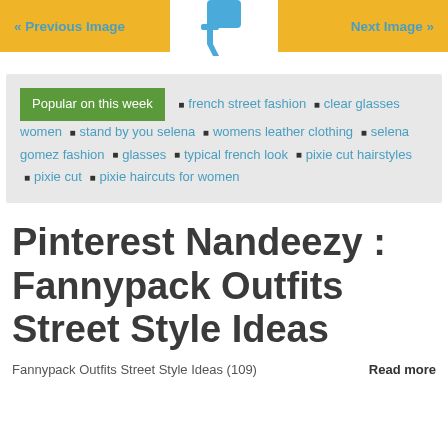« Previous Image   Next Image »
Popular on this week ■ french street fashion ■ clear glasses women ■ stand by you selena ■ womens leather clothing ■ selena gomez fashion ■ glasses ■ typical french look ■ pixie cut hairstyles ■ pixie cut ■ pixie haircuts for women
Pinterest Nandeezy : Fannypack Outfits Street Style Ideas
Fannypack Outfits Street Style Ideas (109)   Read more